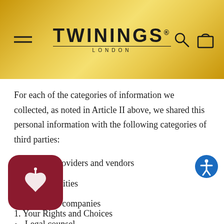TWININGS LONDON
For each of the categories of information we collected, as noted in Article II above, we shared this personal information with the following categories of third parties:
Service providers and vendors
Taxing entities
Insurance companies
Legal counsel
Our parent and affiliated companies who directly support our activities
1. Your Rights and Choices